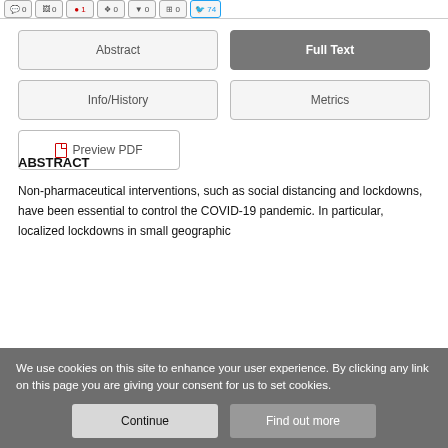[Figure (screenshot): Top navigation bar with social sharing icon buttons showing counts]
Abstract
Full Text
Info/History
Metrics
Preview PDF
ABSTRACT
Non-pharmaceutical interventions, such as social distancing and lockdowns, have been essential to control the COVID-19 pandemic. In particular, localized lockdowns in small geographic
We use cookies on this site to enhance your user experience. By clicking any link on this page you are giving your consent for us to set cookies.
Continue
Find out more